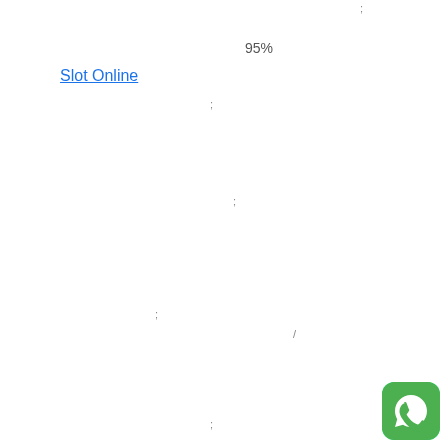;
95%
Slot Online
;
;
;
/
[Figure (logo): WhatsApp logo icon - green circle with white phone/chat bubble icon]
;